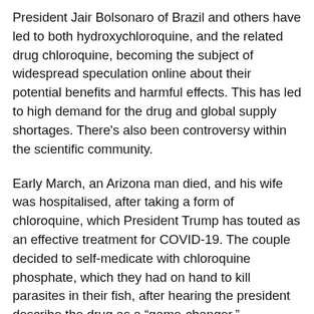President Jair Bolsonaro of Brazil and others have led to both hydroxychloroquine, and the related drug chloroquine, becoming the subject of widespread speculation online about their potential benefits and harmful effects. This has led to high demand for the drug and global supply shortages. There's also been controversy within the scientific community.
Early March, an Arizona man died, and his wife was hospitalised, after taking a form of chloroquine, which President Trump has touted as an effective treatment for COVID-19. The couple decided to self-medicate with chloroquine phosphate, which they had on hand to kill parasites in their fish, after hearing the president describe the drug as a “game-changer.”
Dr. Anthony Fauci, head of NIH’s National Institute for Allergies and Infectious Diseases, quickly corrected the statement,